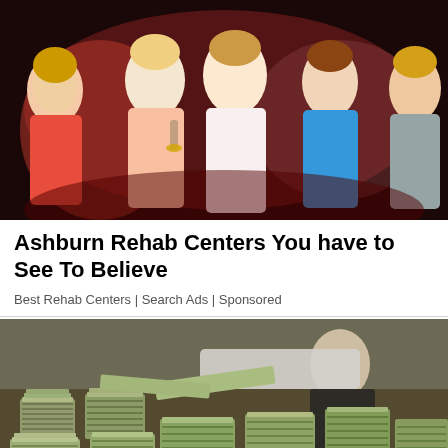[Figure (photo): Photo of a group of young women posing together at what appears to be a social event or nightclub, colorfully dressed]
Ashburn Rehab Centers You have to See To Believe
Best Rehab Centers | Search Ads | Sponsored
[Figure (photo): Photo of stacks of bundled US dollar bills covering a table, with a man in a suit reaching across them]